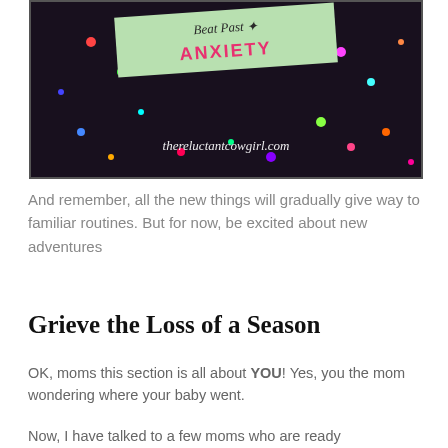[Figure (photo): A dark background with colorful confetti scattered around, with a light green sign showing cursive text 'Beat Past' and bold pink text 'ANXIETY', and the website thereluctantcowgirl.com in white italic script at the bottom.]
And remember, all the new things will gradually give way to familiar routines. But for now, be excited about new adventures
Grieve the Loss of a Season
OK, moms this section is all about YOU! Yes, you the mom wondering where your baby went.
Now, I have talked to a few moms who are ready to send their son or daughter on their way, and